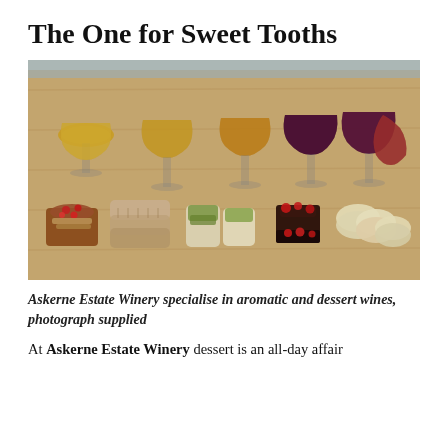The One for Sweet Tooths
[Figure (photo): A wooden board with six wine glasses filled with various dessert wines ranging from golden to deep red, alongside an assortment of small desserts including macarons, chocolate raspberry cakes, panna cotta with pistachio, biscotti, and a berry tart.]
Askerne Estate Winery specialise in aromatic and dessert wines, photograph supplied
At Askerne Estate Winery dessert is an all-day affair